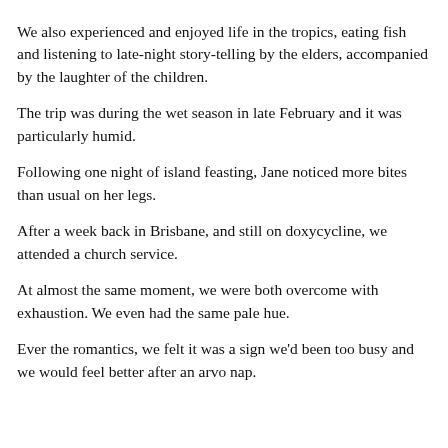We spent time on one of the outer islands of Vanuatu, where I encountered presentations I had not seen in Australia.
We also experienced and enjoyed life in the tropics, eating fish and listening to late-night story-telling by the elders, accompanied by the laughter of the children.
The trip was during the wet season in late February and it was particularly humid.
Following one night of island feasting, Jane noticed more bites than usual on her legs.
After a week back in Brisbane, and still on doxycycline, we attended a church service.
At almost the same moment, we were both overcome with exhaustion. We even had the same pale hue.
Ever the romantics, we felt it was a sign we'd been too busy and we would feel better after an arvo nap.